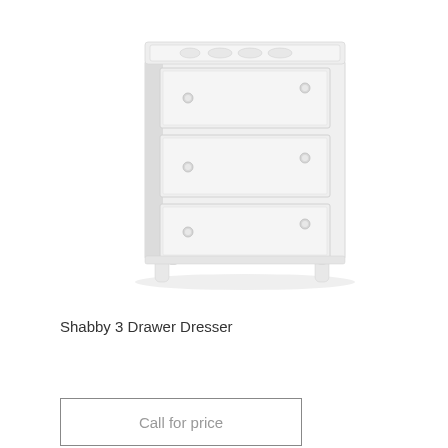[Figure (photo): A white shabby chic 3-drawer dresser with crystal knob handles and decorative carved top trim, shown on a white background. The dresser has turned feet and panel drawer fronts.]
Shabby 3 Drawer Dresser
Call for price